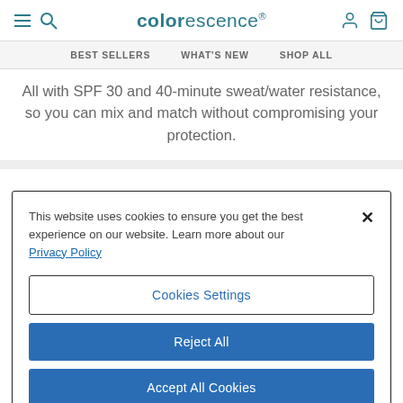colorescience
BEST SELLERS   WHAT'S NEW   SHOP ALL
All with SPF 30 and 40-minute sweat/water resistance, so you can mix and match without compromising your protection.
This website uses cookies to ensure you get the best experience on our website. Learn more about our Privacy Policy
Cookies Settings
Reject All
Accept All Cookies